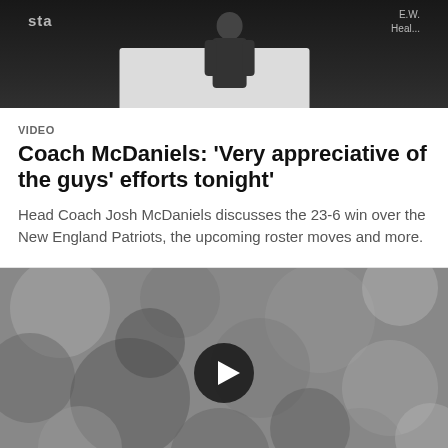[Figure (photo): A person standing at a white podium against a dark background, with partial text visible on top-left reading 'sta' and top-right reading partial sponsor text 'Heal...']
VIDEO
Coach McDaniels: 'Very appreciative of the guys' efforts tonight'
Head Coach Josh McDaniels discusses the 23-6 win over the New England Patriots, the upcoming roster moves and more.
[Figure (screenshot): A blurred black-and-white video thumbnail showing indistinct figures, with a circular play button in the center.]